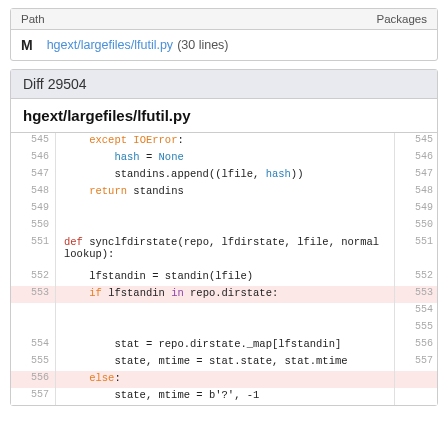| Path | Packages |
| --- | --- |
| M | hgext/largefiles/lfutil.py (30 lines) |
Diff 29504
hgext/largefiles/lfutil.py
| line | code | line |
| --- | --- | --- |
| 545 |     except IOError: | 545 |
| 546 |         hash = None | 546 |
| 547 |         standins.append((lfile, hash)) | 547 |
| 548 |     return standins | 548 |
| 549 |  | 549 |
| 550 |  | 550 |
| 551 | def synclfdirstate(repo, lfdirstate, lfile, normal
lookup): | 551 |
| 552 |     lfstandin = standin(lfile) | 552 |
| 553 |     if lfstandin in repo.dirstate: | 553 |
|  |  | 554 |
|  |  | 555 |
| 554 |         stat = repo.dirstate._map[lfstandin] | 556 |
| 555 |         state, mtime = stat.state, stat.mtime | 557 |
| 556 |     else: |  |
| 557 |         state, mtime = b'?', -1 |  |